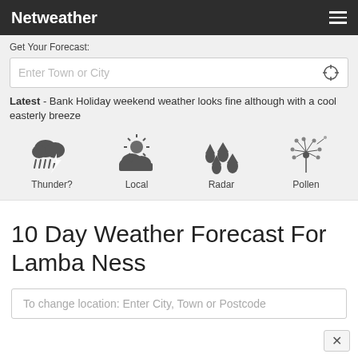Netweather
Get Your Forecast:
Enter Town or City
Latest - Bank Holiday weekend weather looks fine although with a cool easterly breeze
[Figure (illustration): Four weather icons: Thunder?, Local (sun/clouds), Radar (raindrops), Pollen (dandelion)]
10 Day Weather Forecast For Lamba Ness
To change location: Enter City, Town or Postcode